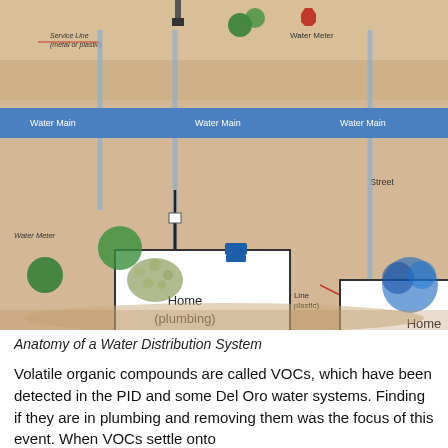[Figure (photo): A photograph of a physical 3D model or display showing the anatomy of a water distribution system, with labeled components including Water Main (blue horizontal band), Service Line (metal or plastic), Water Meter, and two buildings labeled 'Home (plumbing)'. Trees and other urban features are also depicted.]
Anatomy of a Water Distribution System
Volatile organic compounds are called VOCs, which have been detected in the PID and some Del Oro water systems. Finding if they are in plumbing and removing them was the focus of this event. When VOCs settle onto